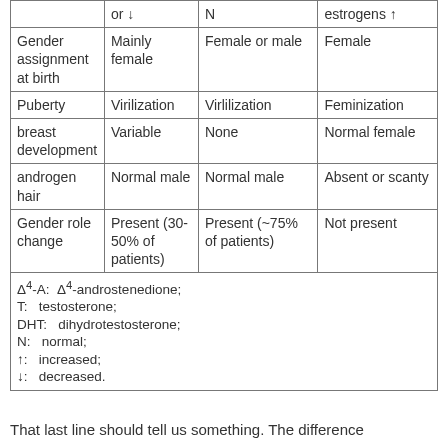|  |  |  |  |
| --- | --- | --- | --- |
|  | or ↓ | N | estrogens ↑ |
| Gender assignment at birth | Mainly female | Female or male | Female |
| Puberty | Virilization | Virlilization | Feminization |
| breast development | Variable | None | Normal female |
| androgen hair | Normal male | Normal male | Absent or scanty |
| Gender role change | Present (30-50% of patients) | Present (~75% of patients) | Not present |
Δ⁴-A:  Δ⁴-androstenedione;
T:  testosterone;
DHT:  dihydrotestosterone;
N:  normal;
↑:  increased;
↓:  decreased.
That last line should tell us something. The difference